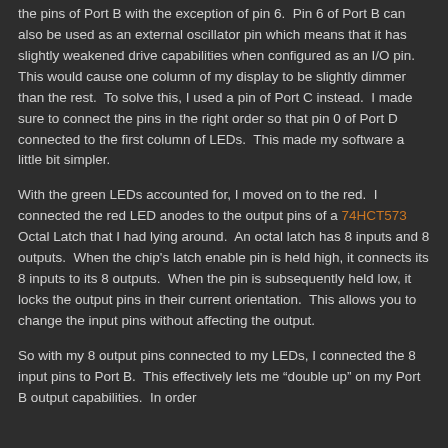the pins of Port B with the exception of pin 6.  Pin 6 of Port B can also be used as an external oscillator pin which means that it has slightly weakened drive capabilities when configured as an I/O pin.  This would cause one column of my display to be slightly dimmer than the rest.  To solve this, I used a pin of Port C instead.  I made sure to connect the pins in the right order so that pin 0 of Port D connected to the first column of LEDs.  This made my software a little bit simpler.
With the green LEDs accounted for, I moved on to the red.  I connected the red LED anodes to the output pins of a 74HCT573 Octal Latch that I had lying around.  An octal latch has 8 inputs and 8 outputs.  When the chip's latch enable pin is held high, it connects its 8 inputs to its 8 outputs.  When the pin is subsequently held low, it locks the output pins in their current orientation.  This allows you to change the input pins without affecting the output.
So with my 8 output pins connected to my LEDs, I connected the 8 input pins to Port B.  This effectively lets me "double up" on my Port B output capabilities.  In order